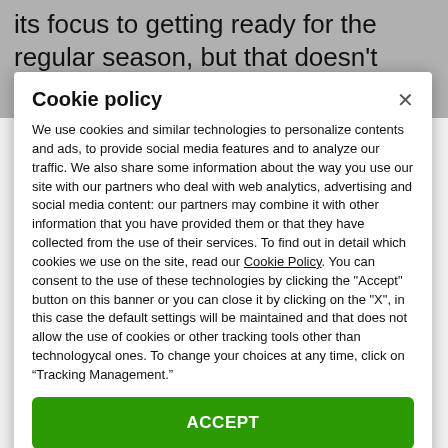its focus to getting ready for the regular season, but that doesn't mean recruiting is taking a back
Cookie policy
We use cookies and similar technologies to personalize contents and ads, to provide social media features and to analyze our traffic. We also share some information about the way you use our site with our partners who deal with web analytics, advertising and social media content: our partners may combine it with other information that you have provided them or that they have collected from the use of their services. To find out in detail which cookies we use on the site, read our Cookie Policy. You can consent to the use of these technologies by clicking the "Accept" button on this banner or you can close it by clicking on the "X", in this case the default settings will be maintained and that does not allow the use of cookies or other tracking tools other than technologycal ones. To change your choices at any time, click on “Tracking Management.”
ACCEPT
TRACKERS MANAGEMENT
Show vendors | Show purposes